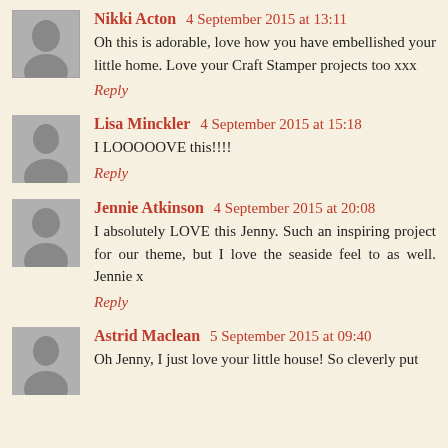Nikki Acton 4 September 2015 at 13:11
Oh this is adorable, love how you have embellished your little home. Love your Craft Stamper projects too xxx
Reply
Lisa Minckler 4 September 2015 at 15:18
I LOOOOOVE this!!!!
Reply
Jennie Atkinson 4 September 2015 at 20:08
I absolutely LOVE this Jenny. Such an inspiring project for our theme, but I love the seaside feel to as well. Jennie x
Reply
Astrid Maclean 5 September 2015 at 09:40
Oh Jenny, I just love your little house! So cleverly put